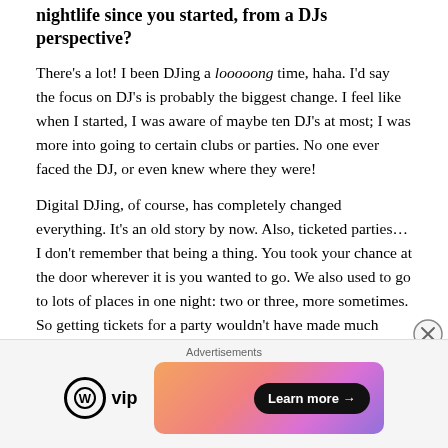nightlife since you started, from a DJs perspective?
There’s a lot! I been DJing a looooong time, haha. I’d say the focus on DJ’s is probably the biggest change. I feel like when I started, I was aware of maybe ten DJ’s at most; I was more into going to certain clubs or parties. No one ever faced the DJ, or even knew where they were!
Digital DJing, of course, has completely changed everything. It’s an old story by now. Also, ticketed parties… I don’t remember that being a thing. You took your chance at the door wherever it is you wanted to go. We also used to go to lots of places in one night: two or three, more sometimes. So getting tickets for a party wouldn’t have made much sense in
Advertisements
[Figure (logo): WordPress VIP logo and an advertisement banner with ‘Learn more’ button]